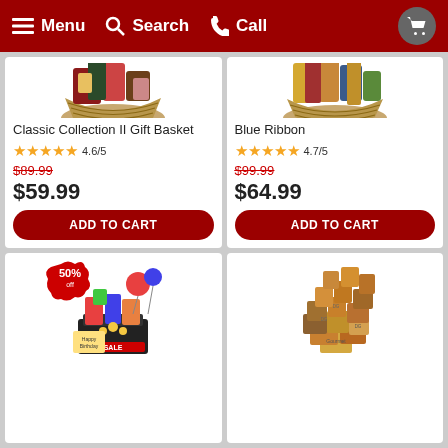Menu  Search  Call
[Figure (photo): Classic Collection II Gift Basket - wicker basket with assorted snacks and treats]
Classic Collection II Gift Basket
4.6/5
$89.99 (crossed out) $59.99
ADD TO CART
[Figure (photo): Blue Ribbon gift basket with assorted gourmet items]
Blue Ribbon
4.7/5
$99.99 (crossed out) $64.99
ADD TO CART
[Figure (photo): Birthday gift basket with 50% off badge, balloons and colorful items]
[Figure (photo): Large gourmet gift basket overflowing with assorted snack packages]